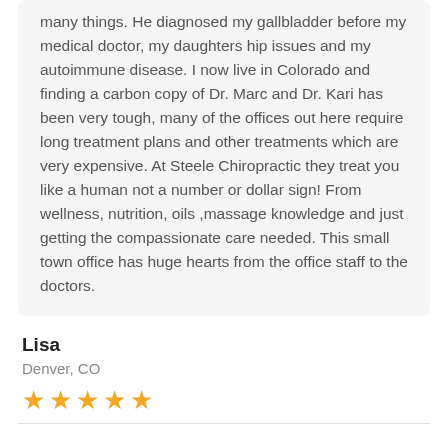many things.  He diagnosed my gallbladder before my medical doctor, my daughters hip issues and my autoimmune disease.  I now live in Colorado and finding a carbon copy of Dr. Marc and Dr. Kari  has been very tough, many of the offices out here require long treatment plans and other treatments which are very expensive.  At Steele Chiropractic they treat you like a human not a number or dollar sign!  From wellness, nutrition, oils ,massage knowledge and just getting the compassionate care needed.  This small town office has huge hearts from the office staff to the doctors.
Lisa
Denver, CO
[Figure (other): Five gold star rating]